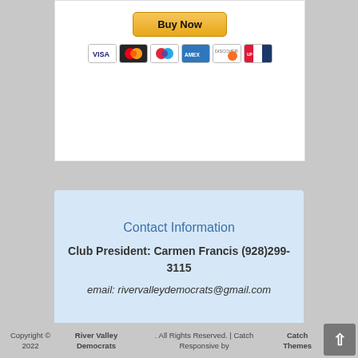[Figure (screenshot): PayPal Buy Now button with payment card icons (Visa, Mastercard, Maestro, American Express, Discover, UnionPay)]
Contact Information
Club President: Carmen Francis (928)299-3115
email: rivervalleydemocrats@gmail.com
Copyright © 2022 River Valley Democrats. All Rights Reserved. | Catch Responsive by Catch Themes